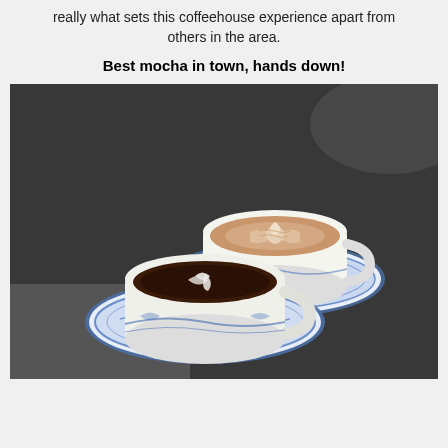really what sets this coffeehouse experience apart from others in the area.
Best mocha in town, hands down!
[Figure (photo): Two blue-and-white porcelain cups and saucers on a dark table. The back cup contains a latte with leaf latte art in cream/foam. The front cup contains a dark mocha/espresso drink with a white design pattern on top.]